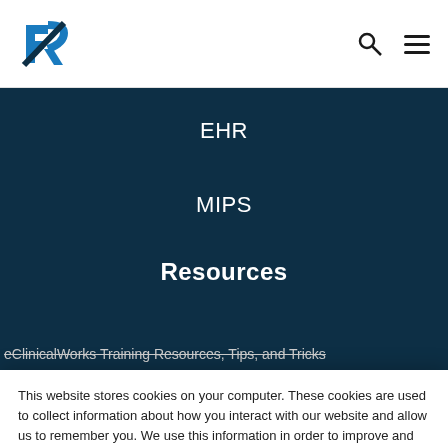R [logo] | search icon | menu icon
EHR
MIPS
Resources
eClinicalWorks Training Resources, Tips, and Tricks
This website stores cookies on your computer. These cookies are used to collect information about how you interact with our website and allow us to remember you. We use this information in order to improve and customize your browsing experience and for analytics and metrics about our visitors both on this website and other media. To find out more about the cookies we use, please see our Privacy Policy.
Accept